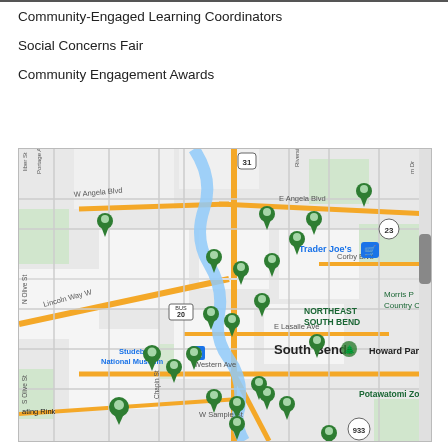Community-Engaged Learning Coordinators
Social Concerns Fair
Community Engagement Awards
[Figure (map): Google Maps view of South Bend, Indiana area showing multiple green location pin markers scattered across the city. Notable landmarks visible include Trader Joe's, Studebaker National Museum, Howard Park, Potawatomi Zoo, and road labels including Lincoln Way W, E Angela Blvd, W Angela Blvd, Corby Blvd, E Lasalle Ave, Western Ave, W Sample St. Route markers for 31, 23, BUS 20, and 933 are visible. A blue river runs through the center of the map.]